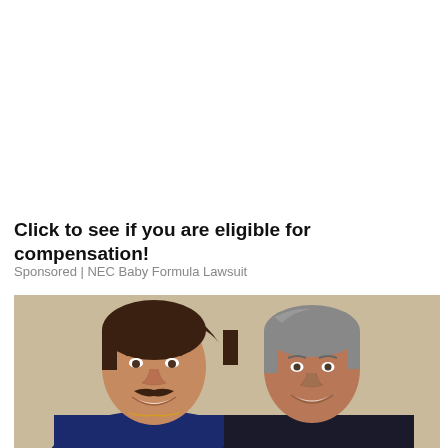Click to see if you are eligible for compensation!
Sponsored | NEC Baby Formula Lawsuit
[Figure (photo): Two men smiling and posing together for a photo. The man on the left has dark hair and a mustache, wearing a blue jacket. The man on the right has gray hair, wearing a dark jacket. Background is a neutral beige/tan color.]